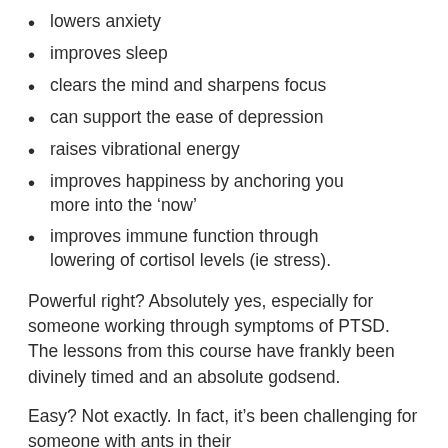lowers anxiety
improves sleep
clears the mind and sharpens focus
can support the ease of depression
raises vibrational energy
improves happiness by anchoring you more into the ‘now’
improves immune function through lowering of cortisol levels (ie stress).
Powerful right? Absolutely yes, especially for someone working through symptoms of PTSD. The lessons from this course have frankly been divinely timed and an absolute godsend.
Easy? Not exactly. In fact, it’s been challenging for someone with ants in their